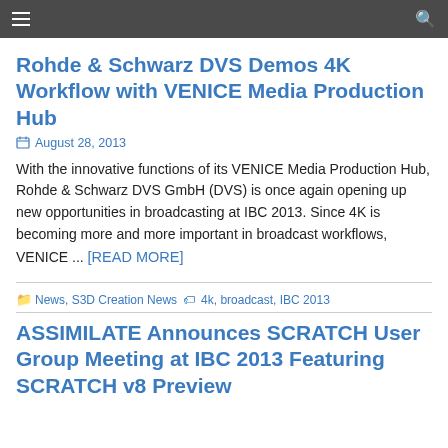Navigation bar with hamburger menu and search icon
Rohde & Schwarz DVS Demos 4K Workflow with VENICE Media Production Hub
August 28, 2013
With the innovative functions of its VENICE Media Production Hub, Rohde & Schwarz DVS GmbH (DVS) is once again opening up new opportunities in broadcasting at IBC 2013. Since 4K is becoming more and more important in broadcast workflows, VENICE ... [READ MORE]
News, S3D Creation News · 4k, broadcast, IBC 2013
ASSIMILATE Announces SCRATCH User Group Meeting at IBC 2013 Featuring SCRATCH v8 Preview